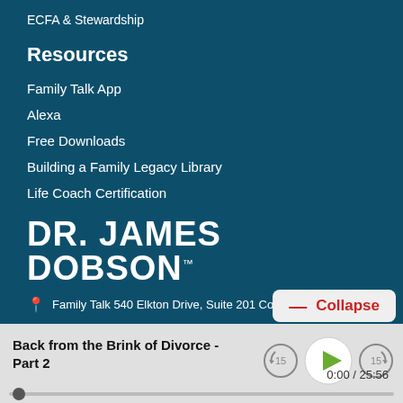ECFA & Stewardship
Resources
Family Talk App
Alexa
Free Downloads
Building a Family Legacy Library
Life Coach Certification
[Figure (logo): DR. JAMES DOBSON logo in white bold text on dark teal background]
Family Talk 540 Elkton Drive, Suite 201 Colorado S
Collapse
Back from the Brink of Divorce - Part 2
0:00 / 25:56